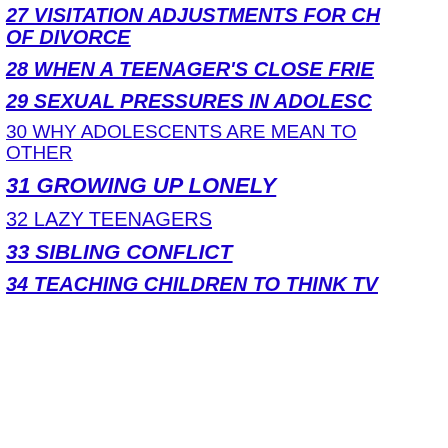27 VISITATION ADJUSTMENTS FOR CH... OF DIVORCE
28 WHEN A TEENAGER'S CLOSE FRIE...
29 SEXUAL PRESSURES IN ADOLESC...
30 WHY ADOLESCENTS ARE MEAN TO... OTHER
31 GROWING UP LONELY
32 LAZY TEENAGERS
33 SIBLING CONFLICT
34 TEACHING CHILDREN TO THINK TV...